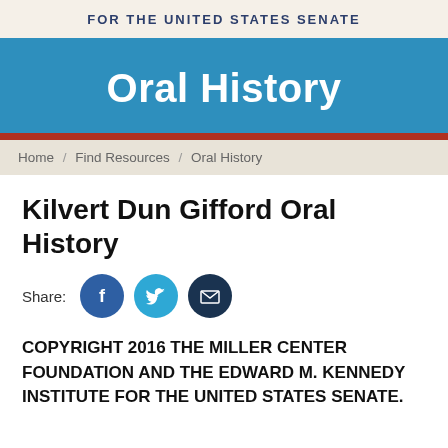FOR THE UNITED STATES SENATE
Oral History
Home / Find Resources / Oral History
Kilvert Dun Gifford Oral History
[Figure (infographic): Share buttons: Facebook (blue circle), Twitter (light blue circle), Email (dark navy circle with envelope icon)]
COPYRIGHT 2016 THE MILLER CENTER FOUNDATION AND THE EDWARD M. KENNEDY INSTITUTE FOR THE UNITED STATES SENATE.